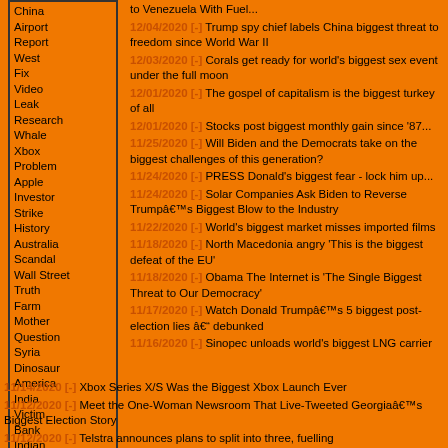China
Airport
Report
West
Fix
Video
Leak
Research
Whale
Xbox
Problem
Apple
Investor
Strike
History
Australia
Scandal
Wall Street
Truth
Farm
Mother
Question
Syria
Dinosaur
America
India
Victim
Bank
Indian
Business
Technology
Entertain
Biggest
to Venezuela With Fuel...
12/04/2020 [-] Trump spy chief labels China biggest threat to freedom since World War II
12/03/2020 [-] Corals get ready for world's biggest sex event under the full moon
12/01/2020 [-] The gospel of capitalism is the biggest turkey of all
12/01/2020 [-] Stocks post biggest monthly gain since '87...
11/25/2020 [-] Will Biden and the Democrats take on the biggest challenges of this generation?
11/24/2020 [-] PRESS Donald's biggest fear - lock him up...
11/24/2020 [-] Solar Companies Ask Biden to Reverse Trumpâs Biggest Blow to the Industry
11/22/2020 [-] World's biggest market misses imported films
11/18/2020 [-] North Macedonia angry 'This is the biggest defeat of the EU'
11/18/2020 [-] Obama The Internet is 'The Single Biggest Threat to Our Democracy'
11/17/2020 [-] Watch Donald Trumpâs 5 biggest post-election lies â debunked
11/16/2020 [-] Sinopec unloads world's biggest LNG carrier
11/14/2020 [-] Xbox Series X/S Was the Biggest Xbox Launch Ever
11/12/2020 [-] Meet the One-Woman Newsroom That Live-Tweeted Georgiaâs Biggest Election Story
11/12/2020 [-] Telstra announces plans to split into three, fuelling